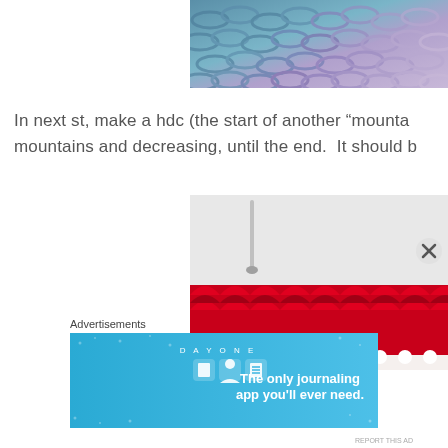[Figure (photo): Close-up photo of blue and purple knitted or crocheted yarn texture, showing mountain stitch pattern.]
In next st, make a hdc (the start of another “mounta mountains and decreasing, until the end.  It should b
[Figure (photo): Photo showing a crochet hook and red/crimson yarn with mountain stitch crochet pattern visible at the bottom.]
Advertisements
[Figure (infographic): Day One journaling app advertisement banner with teal/blue background, app icons, and text: 'The only journaling app you'll ever need.']